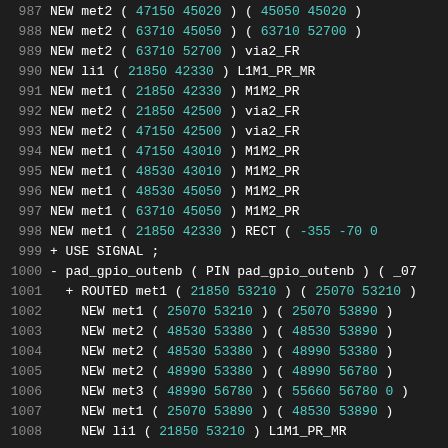987   NEW met2 ( 47150 45020 ) ( 45050 45020 )
988   NEW met2 ( 63710 45050 ) ( 63710 52700 )
989   NEW met2 ( 63710 52700 ) via2_FR
990   NEW li1 ( 21850 42330 ) L1M1_PR_MR
991   NEW met1 ( 21850 42330 ) M1M2_PR
992   NEW met2 ( 21850 42500 ) via2_FR
993   NEW met2 ( 47150 42500 ) via2_FR
994   NEW met1 ( 47150 43010 ) M1M2_PR
995   NEW met1 ( 48530 43010 ) M1M2_PR
996   NEW met1 ( 48530 45050 ) M1M2_PR
997   NEW met1 ( 63710 45050 ) M1M2_PR
998   NEW met1 ( 21850 42330 ) RECT ( -355 -70 0
999 + USE SIGNAL ;
1000 - pad_gpio_outenb ( PIN pad_gpio_outenb ) ( _07
1001   + ROUTED met1 ( 21850 53210 ) ( 25070 53210 )
1002     NEW met1 ( 25070 53210 ) ( 25070 53890 )
1003     NEW met2 ( 48530 53380 ) ( 48530 53890 )
1004     NEW met2 ( 48530 53380 ) ( 48990 53380 )
1005     NEW met2 ( 48990 53380 ) ( 48990 56780 )
1006     NEW met3 ( 48990 56780 ) ( 55660 56780 0 )
1007     NEW met1 ( 25070 53890 ) ( 48530 53890 )
1008     NEW li1 ( 21850 53210 ) L1M1_PR_MR